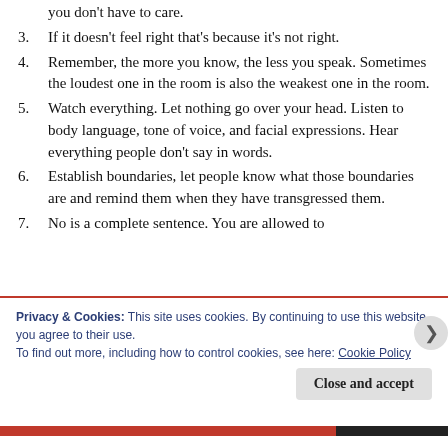you don't have to care.
3.  If it doesn't feel right that's because it's not right.
4. Remember, the more you know, the less you speak. Sometimes the loudest one in the room is also the weakest one in the room.
5. Watch everything. Let nothing go over your head. Listen to body language, tone of voice, and facial expressions. Hear everything people don't say in words.
6. Establish boundaries, let people know what those boundaries are and remind them when they have transgressed them.
7. No is a complete sentence. You are allowed to
Privacy & Cookies: This site uses cookies. By continuing to use this website, you agree to their use.
To find out more, including how to control cookies, see here: Cookie Policy